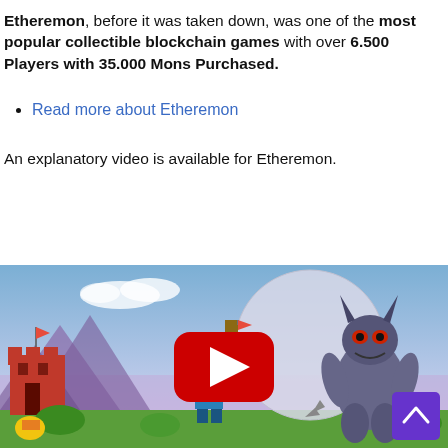Etheremon, before it was taken down, was one of the most popular collectible blockchain games with over 6.500 Players with 35.000 Mons Purchased.
Read more about Etheremon
An explanatory video is available for Etheremon.
[Figure (screenshot): YouTube video thumbnail for Etheremon showing a colorful low-poly fantasy game scene with castles, mountains, a large moon, and a dark monster character. A red YouTube play button is centered on the image. A purple scroll-to-top button is visible in the bottom right corner.]